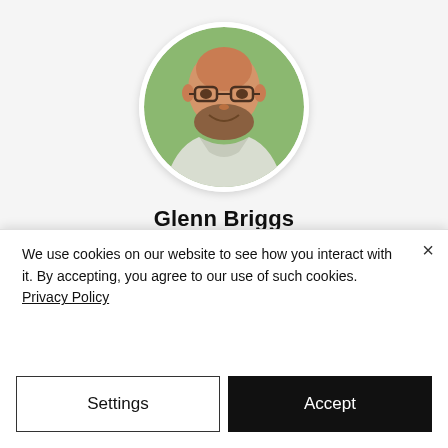[Figure (photo): Circular profile photo of a bald man with glasses and a beard, wearing a light shirt, against a green background]
Glenn Briggs
Business Development Manager
[Figure (illustration): LinkedIn 'in' icon in black]
[Figure (illustration): Email envelope icon in black]
We use cookies on our website to see how you interact with it. By accepting, you agree to our use of such cookies. Privacy Policy
Settings
Accept